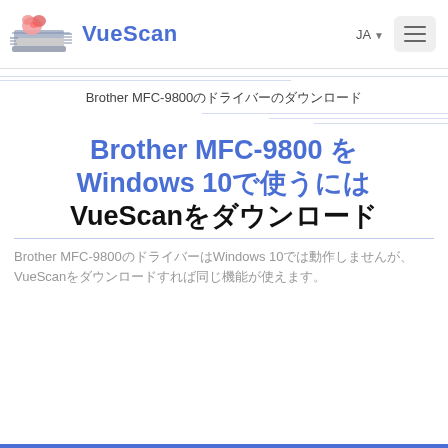VueScan
Brother MFC-9800のドライバーのダウンロード
Brother MFC-9800 を Windows 10で使うには VueScanをダウンロード
Brother MFC-9800のドライバーはWindows 10では動作しませんが、VueScanをダウンロードすれば同じ機能が使えます。